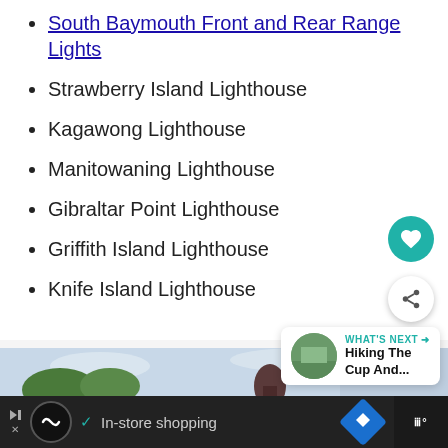South Baymouth Front and Rear Range Lights
Strawberry Island Lighthouse
Kagawong Lighthouse
Manitowaning Lighthouse
Gibraltar Point Lighthouse
Griffith Island Lighthouse
Knife Island Lighthouse
[Figure (photo): Outdoor scene with trees and a large dark sculptural object against a cloudy sky]
[Figure (screenshot): Advertisement bar: Infinity loop logo, checkmark, In-store shopping text, blue diamond navigation icon, dark right panel]